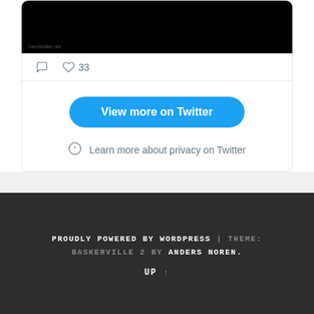[Figure (screenshot): Twitter embed card showing a black image with comment and like (33) icons below it]
View more on Twitter
Learn more about privacy on Twitter
PROUDLY POWERED BY WORDPRESS | THEME: BASKERVILLE 2 BY ANDERS NOREN. UP ↑